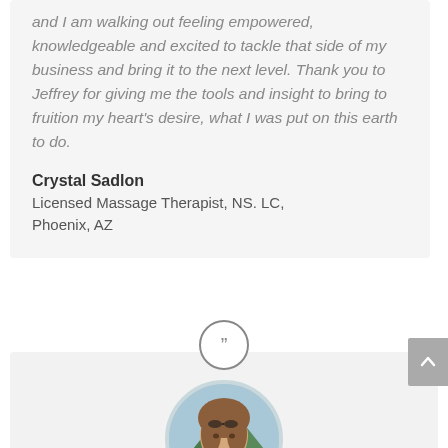and I am walking out feeling empowered, knowledgeable and excited to tackle that side of my business and bring it to the next level. Thank you to Jeffrey for giving me the tools and insight to bring to fruition my heart's desire, what I was put on this earth to do.
Crystal Sadlon
Licensed Massage Therapist, NS. LC, Phoenix, AZ
[Figure (photo): Circular close-up portrait photo of a woman with light brown hair, smiling, outdoors with trees and sky background.]
I learned not just about business but I learned